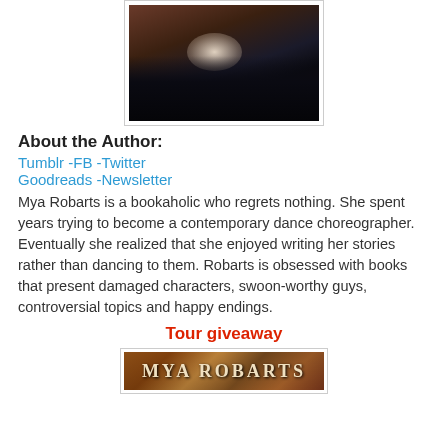[Figure (photo): Dark artistic photo of a woman lying down with dark hair spread out, face partially lit, dramatic moody lighting]
About the Author:
Tumblr -FB -Twitter
Goodreads -Newsletter
Mya Robarts is a bookaholic who regrets nothing. She spent years trying to become a contemporary dance choreographer. Eventually she realized that she enjoyed writing her stories rather than dancing to them. Robarts is obsessed with books that present damaged characters, swoon-worthy guys, controversial topics and happy endings.
Tour giveaway
[Figure (photo): Book cover or promotional image for Mya Robarts, showing title text in stylized letters on a warm-toned background]